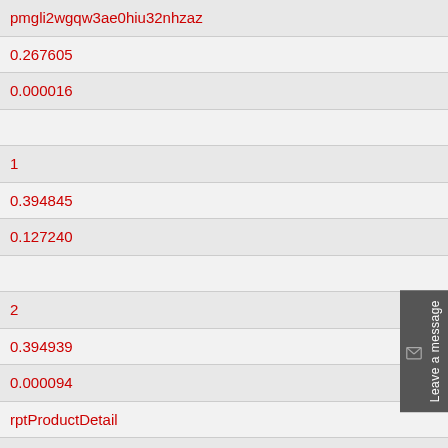| pmgli2wgqw3ae0hiu32nhzaz |
| 0.267605 |
| 0.000016 |
|  |
| 1 |
| 0.394845 |
| 0.127240 |
|  |
| 2 |
| 0.394939 |
| 0.000094 |
| rptProductDetail |
| image1=RZT-29.gif |
| 0.395142 |
| 0.000203 |
| GetAlsoBoughtProductsDR ERROR |